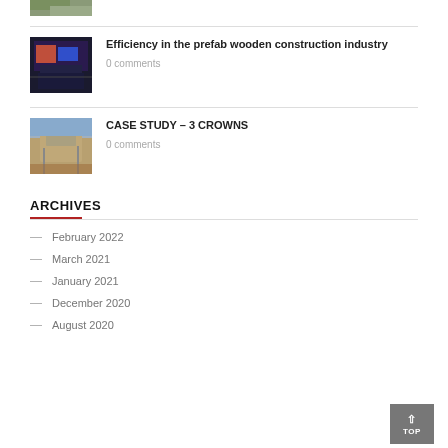[Figure (photo): Thumbnail photo of a green outdoor/building scene at the top]
[Figure (photo): Thumbnail of prefab wooden construction with colorful digital overlay]
Efficiency in the prefab wooden construction industry
0 comments
[Figure (photo): Thumbnail of 3 Crowns building under construction with scaffolding]
CASE STUDY – 3 CROWNS
0 comments
ARCHIVES
February 2022
March 2021
January 2021
December 2020
August 2020